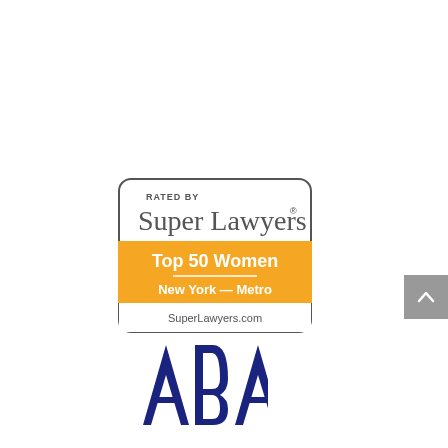[Figure (logo): Super Lawyers badge: 'RATED BY Super Lawyers — Top 50 Women — New York — Metro — SuperLawyers.com']
[Figure (logo): ABA (American Bar Association) logo in dark blue]